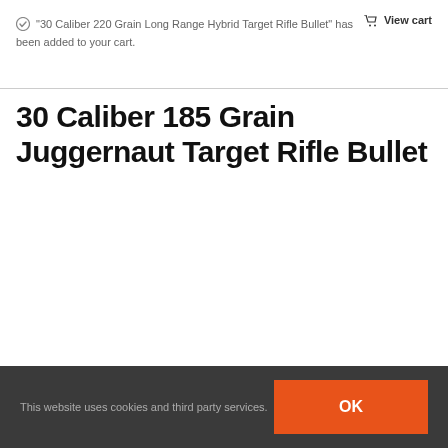"30 Caliber 220 Grain Long Range Hybrid Target Rifle Bullet" has been added to your cart.  View cart
30 Caliber 185 Grain Juggernaut Target Rifle Bullet
This website uses cookies and third party services.